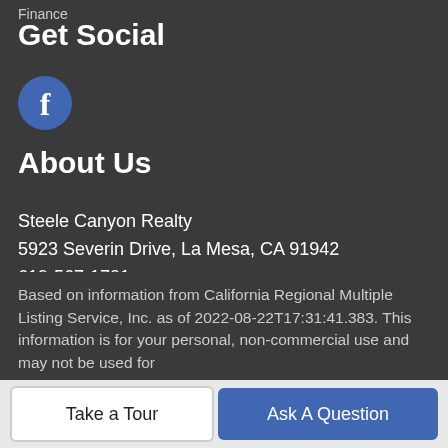Finance
Get Social
[Figure (logo): Facebook icon — circular blue button with white letter f]
About Us
Steele Canyon Realty
5923 Severin Drive, La Mesa, CA 91942
619-567-1701
CA DRE# 01844037
Based on information from California Regional Multiple Listing Service, Inc. as of 2022-08-22T17:31:41.383. This information is for your personal, non-commercial use and may not be used for
Take a Tour
Ask A Question